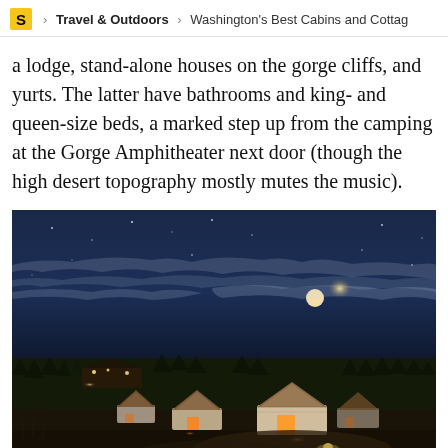S > Travel & Outdoors > Washington's Best Cabins and Cottag
a lodge, stand-alone houses on the gorge cliffs, and yurts. The latter have bathrooms and king- and queen-size beds, a marked step up from the camping at the Gorge Amphitheater next door (though the high desert topography mostly mutes the music).
[Figure (photo): Night photograph of yurts illuminated with warm orange-yellow light under a dramatic dark blue sky with wispy clouds and a bright moon. Trees and landscape visible in background.]